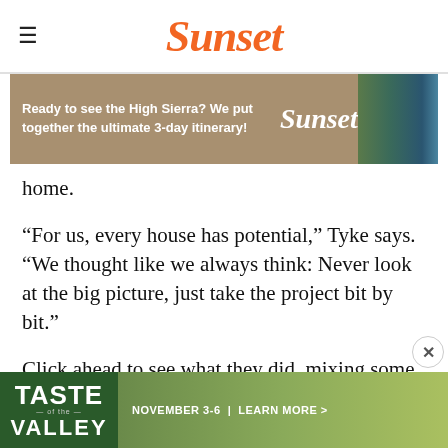Sunset
[Figure (screenshot): Sunset magazine advertisement banner: 'Ready to see the High Sierra? We put together the ultimate 3-day itinerary!' with mountain lake photo and Sunset logo]
home.
“For us, every house has potential,” Tyke says. “We thought like we always think: Never look at the big picture, just take the project bit by bit.”
Click ahead to see what they did, mixing some old with the new along the way.
[Figure (screenshot): Taste of the Valley advertisement banner: NOVEMBER 3-6 | LEARN MORE > with vineyard/valley landscape photo]